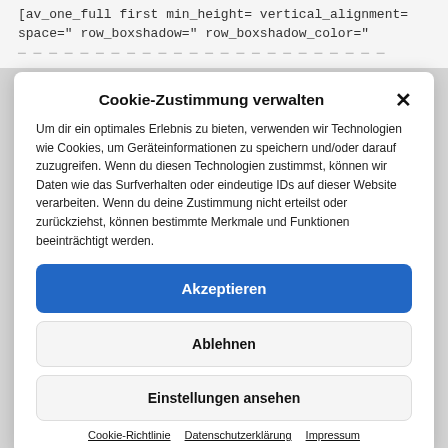[av_one_full first min_height= vertical_alignment= space=" row_boxshadow=" row_boxshadow_color="
Cookie-Zustimmung verwalten
Um dir ein optimales Erlebnis zu bieten, verwenden wir Technologien wie Cookies, um Geräteinformationen zu speichern und/oder darauf zuzugreifen. Wenn du diesen Technologien zustimmst, können wir Daten wie das Surfverhalten oder eindeutige IDs auf dieser Website verarbeiten. Wenn du deine Zustimmung nicht erteilst oder zurückziehst, können bestimmte Merkmale und Funktionen beeinträchtigt werden.
Akzeptieren
Ablehnen
Einstellungen ansehen
Cookie-Richtlinie   Datenschutzerklärung   Impressum